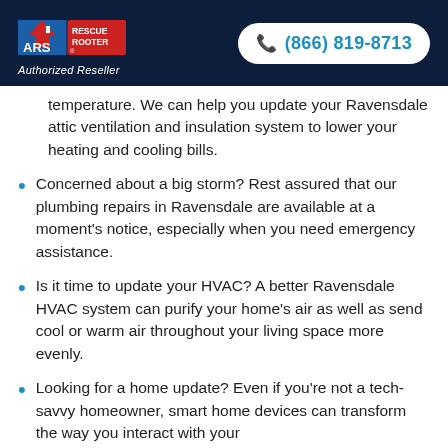[Figure (logo): ARS Rescue Rooter logo with Authorized Reseller text in dark navy header]
(866) 819-8713
temperature. We can help you update your Ravensdale attic ventilation and insulation system to lower your heating and cooling bills.
Concerned about a big storm? Rest assured that our plumbing repairs in Ravensdale are available at a moment's notice, especially when you need emergency assistance.
Is it time to update your HVAC? A better Ravensdale HVAC system can purify your home's air as well as send cool or warm air throughout your living space more evenly.
Looking for a home update? Even if you're not a tech-savvy homeowner, smart home devices can transform the way you interact with your